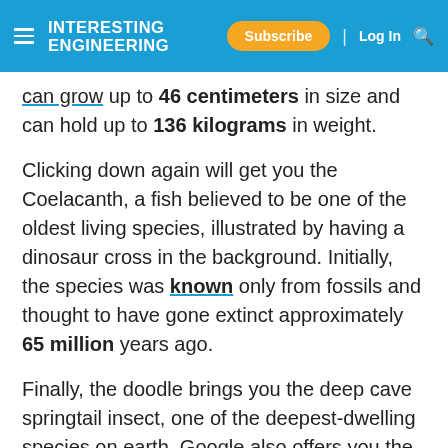INTERESTING ENGINEERING | Subscribe | Log In
can grow up to 46 centimeters in size and can hold up to 136 kilograms in weight.
Clicking down again will get you the Coelacanth, a fish believed to be one of the oldest living species, illustrated by having a dinosaur cross in the background. Initially, the species was known only from fossils and thought to have gone extinct approximately 65 million years ago.
Finally, the doodle brings you the deep cave springtail insect, one of the deepest-dwelling species on earth. Google also offers you the chance to learn more about each creature by clicking on the illustration.
Protecting nature
The page is cut off here.